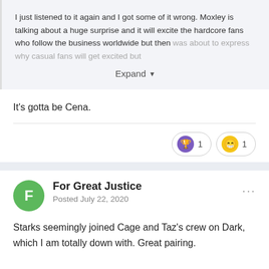I just listened to it again and I got some of it wrong. Moxley is talking about a huge surprise and it will excite the hardcore fans who follow the business worldwide but then was about to express why casual fans will get excited but
Expand
It's gotta be Cena.
[Figure (other): Reaction badges: trophy icon with count 1, and laughing emoji with count 1]
For Great Justice
Posted July 22, 2020
Starks seemingly joined Cage and Taz's crew on Dark, which I am totally down with. Great pairing.